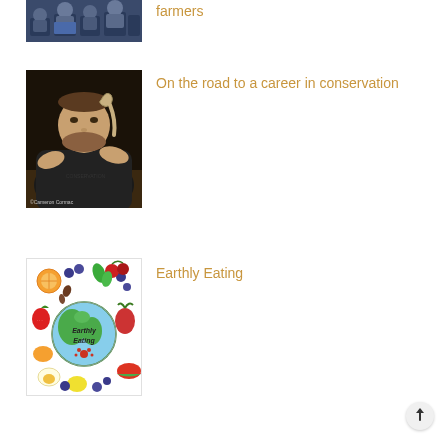[Figure (photo): Photo of people seated in chairs, partially cropped at top of page]
farmers
[Figure (photo): Man in dark t-shirt holding a small snake at night, watermark reads ©Cameron Cormac]
On the road to a career in conservation
[Figure (illustration): Earthly Eating logo illustration: globe surrounded by colorful fruits and vegetables with text 'Earthly Eating' and a red paw print]
Earthly Eating